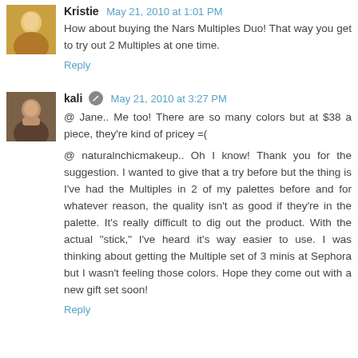Kristie May 21, 2010 at 1:01 PM
How about buying the Nars Multiples Duo! That way you get to try out 2 Multiples at one time.
Reply
kali May 21, 2010 at 3:27 PM
@ Jane.. Me too! There are so many colors but at $38 a piece, they're kind of pricey =(
@ naturalnchicmakeup.. Oh I know! Thank you for the suggestion. I wanted to give that a try before but the thing is I've had the Multiples in 2 of my palettes before and for whatever reason, the quality isn't as good if they're in the palette. It's really difficult to dig out the product. With the actual "stick," I've heard it's way easier to use. I was thinking about getting the Multiple set of 3 minis at Sephora but I wasn't feeling those colors. Hope they come out with a new gift set soon!
Reply